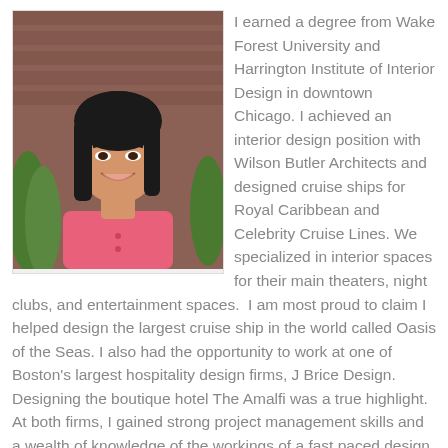[Figure (photo): Portrait photo of a smiling Asian woman with long dark hair, wearing a pink polo shirt, standing in front of a brick wall with green bushes.]
I earned a degree from Wake Forest University and Harrington Institute of Interior Design in downtown Chicago. I achieved an interior design position with Wilson Butler Architects and designed cruise ships for Royal Caribbean and Celebrity Cruise Lines. We specialized in interior spaces for their main theaters, night clubs, and entertainment spaces.  I am most proud to claim I helped design the largest cruise ship in the world called Oasis of the Seas. I also had the opportunity to work at one of Boston's largest hospitality design firms, J Brice Design.  Designing the boutique hotel The Amalfi was a true highlight. At both firms, I gained strong project management skills and a wealth of knowledge of the workings of a fast paced design